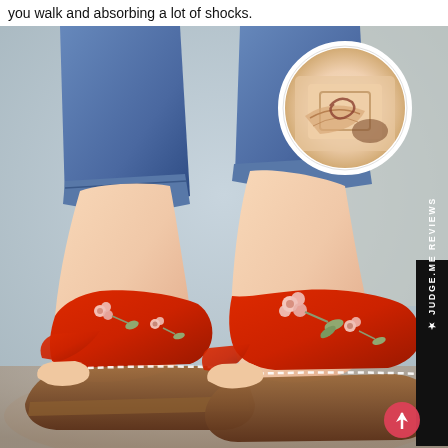you walk and absorbing a lot of shocks.
[Figure (photo): Person wearing red floral wedge sandals with open toe, shown from ankle down. Inset circle shows close-up of sandal sole/arch support. Side label reads JUDGE.ME REVIEWS. Scroll-up button at bottom right.]